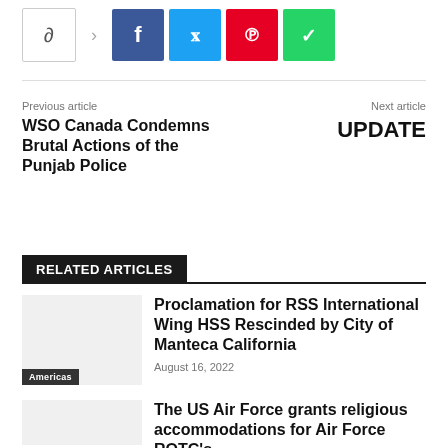[Figure (other): Social share button row with share toggle, Facebook, Twitter, Pinterest, and WhatsApp buttons]
Previous article
WSO Canada Condemns Brutal Actions of the Punjab Police
Next article
UPDATE
RELATED ARTICLES
Proclamation for RSS International Wing HSS Rescinded by City of Manteca California
August 16, 2022
The US Air Force grants religious accommodations for Air Force ROTC's